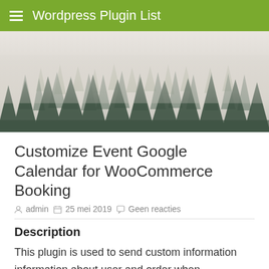Wordpress Plugin List
[Figure (illustration): Misty forest with tall evergreen trees fading into fog, used as a hero/banner image]
Customize Event Google Calendar for WooCommerce Booking
admin  25 mei 2019  Geen reacties
Description
This plugin is used to send custom information information about user and order when WooCommerce Bookings creates an event in